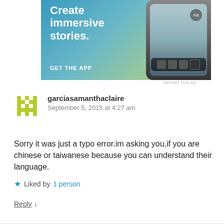[Figure (illustration): Advertisement banner: 'Create immersive stories. GET THE APP' with a phone showing a waterfall photo]
REPORT THIS AD
garciasamanthaclaire
September 5, 2015 at 4:27 am
Sorry it was just a typo error.im asking you,if you are chinese or taiwanese because you can understand their language.
Liked by 1 person
Reply ↓